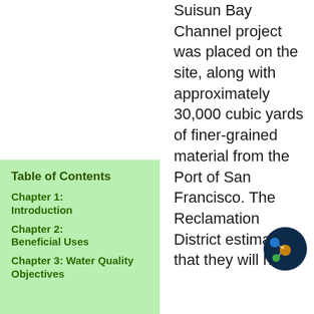Suisun Bay Channel project was placed on the site, along with approximately 30,000 cubic yards of finer-grained material from the Port of San Francisco. The Reclamation District estimates that they will have
Table of Contents
Chapter 1: Introduction
Chapter 2: Beneficial Uses
Chapter 3: Water Quality Objectives
[Figure (illustration): Small circular icon with dark navy background showing colored spheres/nodes connected together, resembling a molecular or network diagram with blue, gold, and green elements.]